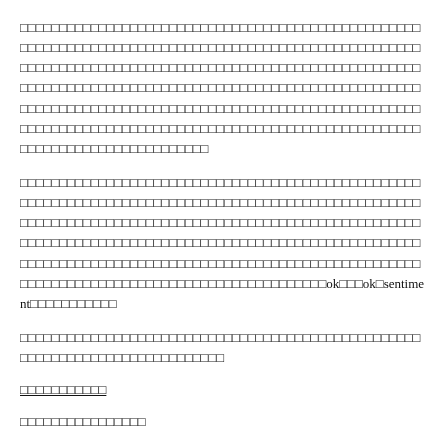□□□□□□□□□□□□□□□□□□□□□□□□□□□□□□□□□□□□□□□□□□□□□□□□□□□□□□□□□□□□□□□□□□□□□□□□□□□□□□□□□□□□□□□□□□□□□□□□□□□□□□□□□□□□□□□□□□□□□□□□□□□□□□□□□□□□□□□□□□□□□□□□□□□□□□□□□□□□□□□□□□□□□□□□□□□□□□□□□□□□□□□□□□□□□□□□□□□□□□□□□□□□□□□□□□□□□□□□□□□□□□□□□□□□□□□□□□□□□□□□□□□□□□□□□□□□□□□□□□□□□□□□□□□□□□□□□□□□□□□□□□□□□□□□□□□□□□□□□□□□□□□□□□□□□□□□□□□□□□□□□□□□□□□□□□
□□□□□□□□□□□□□□□□□□□□□□□□□□□□□□□□□□□□□□□□□□□□□□□□□□□□□□□□□□□□□□□□□□□□□□□□□□□□□□□□□□□□□□□□□□□□□□□□□□□□□□□□□□□□□□□□□□□□□□□□□□□□□□□□□□□□□□□□□□□□□□□□□□□□□□□□□□□□□□□□□□□□□□□□□□□□□□□□□□□□□□□□□□□□□□□□□□□□□□□□□□□□□□□□□□□□□□□□□□□□□□□□□□□□□□□□□□□□□□□□□□□□□□□□□□□□□□□□□□□□□□□□□□□□□□□□□□□□□□□□□□□□□□□□□□□□□□ok□□□ok□sentiment□□□□□□□□□□□
□□□□□□□□□□□□□□□□□□□□□□□□□□□□□□□□□□□□□□□□□□□□□□□□□□□□□□□□□□□□□□□□□□□□□□□□□□□□□
□□□□□□□□□□□
□□□□□□□□□□□□□□□□
@□□ @□□□ □□□□□□□□□□□□ □□□□□□□□□□□□□□
□□□□□"Unfortunately□□□□□□□□□□□□□□□□□□□□"
□□□□□□□ care □□□□□ nonsense □□□□□□□□□□□□□□□□□□□□□□